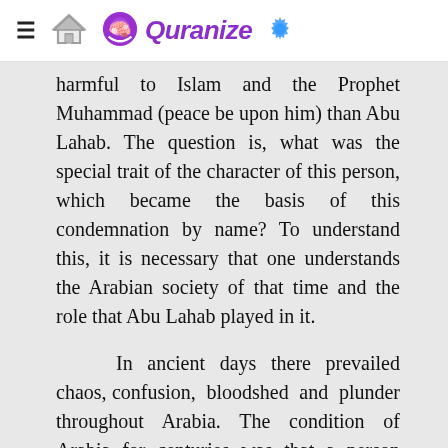≡ [home icon] Quranize [gear icon]
harmful to Islam and the Prophet Muhammad (peace be upon him) than Abu Lahab. The question is, what was the special trait of the character of this person, which became the basis of this condemnation by name? To understand this, it is necessary that one understands the Arabian society of that time and the role that Abu Lahab played in it.
In ancient days there prevailed chaos, confusion, bloodshed and plunder throughout Arabia. The condition of Arabia for centuries was that a person could have no guarantee of the protection of life, honor and property except with the help